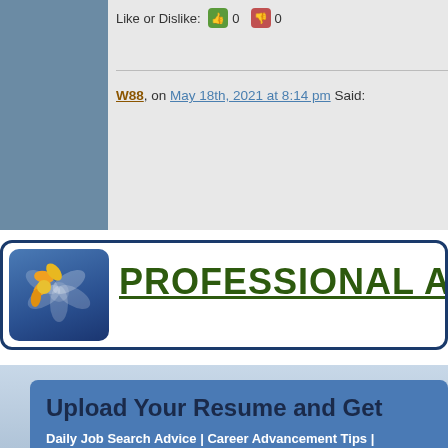Like or Dislike: 0 0
W88, on May 18th, 2021 at 8:14 pm Said:
[Figure (logo): Professional Advice website banner with flower logo and green bold title text 'PROFESSIONAL ADVI...']
Upload Your Resume and Get
Daily Job Search Advice | Career Advancement Tips | Informative Articles on Life Lessons And much more...
Email Address
Upload Resume   Choose File   No file chosen